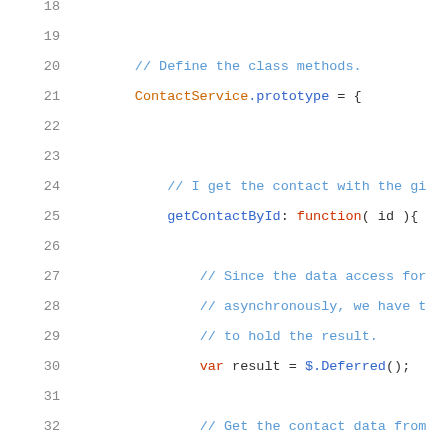[Figure (screenshot): Code editor showing JavaScript source code lines 18-35, with syntax highlighting. Line numbers in gray on the left. Comments in blue, keywords in red/orange, object names in orange, method names in blue.]